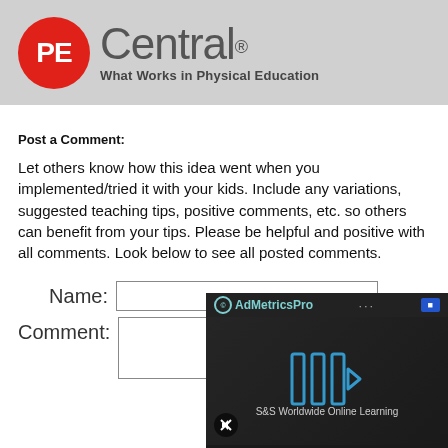[Figure (logo): PE Central logo: red circle with white PE text, followed by 'Central' in large grey letters with registered trademark symbol, tagline 'What Works in Physical Education' below]
Post a Comment:
Let others know how this idea went when you implemented/tried it with your kids. Include any variations, suggested teaching tips, positive comments, etc. so others can benefit from your tips. Please be helpful and positive with all comments. Look below to see all posted comments.
Name:
Comment:
[Figure (screenshot): AdMetricsPro video advertisement overlay showing play button with blue outline arrows, S&S Worldwide Online Learning subtitle text, mute button in bottom left corner, with dark semi-transparent background]